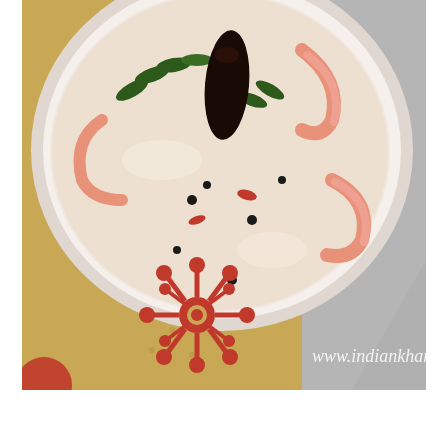[Figure (photo): Top-down view of a white bowl containing a creamy Indian curry dish with shrimp/prawns, curry leaves, black pepper, dried red chilies, and spices in a coconut milk-based sauce. The bowl sits on a golden/tan fabric with a decorative red circular sunburst/floral block print motif. A watermark reads 'www.indiankhana.net'. Background shows a grey surface.]